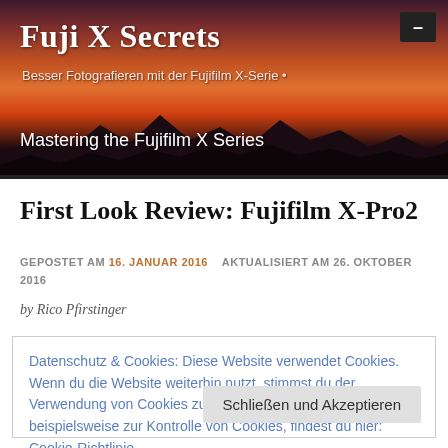Fuji X Secrets – Besser Fotografieren mit der Fujifilm X-Serie • Mastering the Fujifilm X Series
First Look Review: Fujifilm X-Pro2
GEPOSTET AM 16. JANUAR 2016   AKTUALISIERT AM 26. OKTOBER 2016
by Rico Pfirstinger
Datenschutz & Cookies: Diese Website verwendet Cookies. Wenn du die Website weiterhin nutzt, stimmst du der Verwendung von Cookies zu. Weitere Informationen, beispielsweise zur Kontrolle von Cookies, findest du hier: Cookie-Richtlinie
Schließen und Akzeptieren